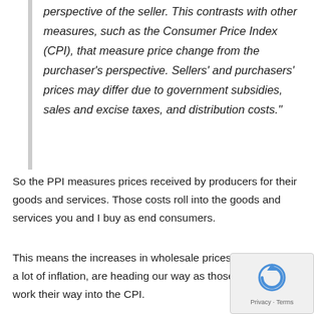perspective of the seller. This contrasts with other measures, such as the Consumer Price Index (CPI), that measure price change from the purchaser's perspective. Sellers' and purchasers' prices may differ due to government subsidies, sales and excise taxes, and distribution costs."
So the PPI measures prices received by producers for their goods and services. Those costs roll into the goods and services you and I buy as end consumers.
This means the increases in wholesale prices, which show a lot of inflation, are heading our way as those increases work their way into the CPI.